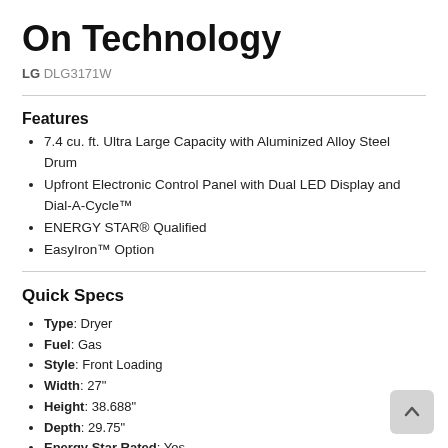On Technology
LG DLG3171W
Features
7.4 cu. ft. Ultra Large Capacity with Aluminized Alloy Steel Drum
Upfront Electronic Control Panel with Dual LED Display and Dial-A-Cycle™
ENERGY STAR® Qualified
EasyIron™ Option
Quick Specs
Type: Dryer
Fuel: Gas
Style: Front Loading
Width: 27"
Height: 38.688"
Depth: 29.75"
Energy Star Rated: Yes
Laundry Capacity: 7.4 cu. ft.
High Efficiency: No
Steam Cycle: No